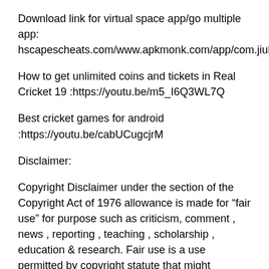Download link for virtual space app/go multiple app: hscapescheats.com/www.apkmonk.com/app/com.jiubang.commerce.gomultiple/
How to get unlimited coins and tickets in Real Cricket 19 :https://youtu.be/m5_I6Q3WL7Q
Best cricket games for android :https://youtu.be/cabUCugcjrM
Disclaimer:
Copyright Disclaimer under the section of the Copyright Act of 1976 allowance is made for “fair use” for purpose such as criticism, comment , news , reporting , teaching , scholarship , education & research. Fair use is a use permitted by copyright statute that might otherwise be fringing.